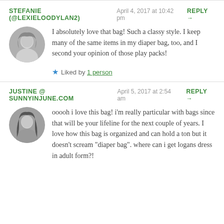STEFANIE (@LEXIELOODYLAN2)   April 4, 2017 at 10:42 pm   REPLY →
I absolutely love that bag! Such a classy style. I keep many of the same items in my diaper bag, too, and I second your opinion of those play packs!
★ Liked by 1 person
JUSTINE @ SUNNYINJUNE.COM   April 5, 2017 at 2:54 am   REPLY →
ooooh i love this bag! i'm really particular with bags since that will be your lifeline for the next couple of years. I love how this bag is organized and can hold a ton but it doesn't scream "diaper bag". where can i get logans dress in adult form?!